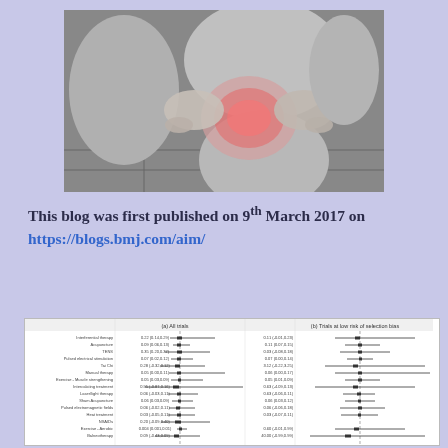[Figure (photo): Black and white photograph of a person holding their knee, with a reddish/pink highlight on the knee joint suggesting pain or inflammation.]
This blog was first published on 9th March 2017 on https://blogs.bmj.com/aim/
[Figure (other): Forest plot showing treatment effect sizes for various interventions for knee pain, with two panels: (a) All trials and (b) Trials at low risk of selection bias. Interventions listed include Interferential therapy, Acupuncture, TENS, Pulsed electrical stimulation, Tai Chi, Manual therapy, Exercise-Muscle strengthening, Intercalating treatment, Laser/light therapy, Sham Acupuncture, Pulsed electromagnetic fields, Heat treatment, NSAIDs, Exercise-Aerobic, Balneotherapy, Placebo, Braces, Insoles.]